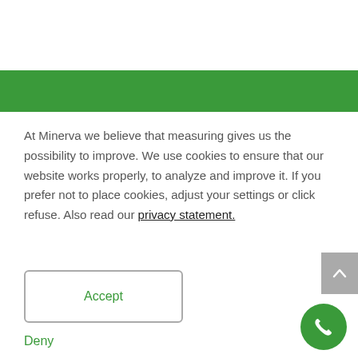[Figure (other): Green horizontal banner bar]
At Minerva we believe that measuring gives us the possibility to improve. We use cookies to ensure that our website works properly, to analyze and improve it. If you prefer not to place cookies, adjust your settings or click refuse. Also read our privacy statement.
Accept
Deny